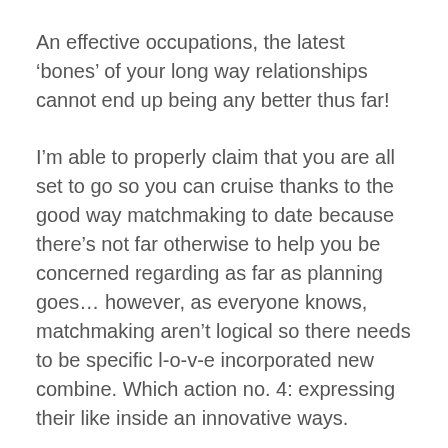An effective occupations, the latest ‘bones’ of your long way relationships cannot end up being any better thus far!
I’m able to properly claim that you are all set to go so you can cruise thanks to the good way matchmaking to date because there’s not far otherwise to help you be concerned regarding as far as planning goes… however, as everyone knows, matchmaking aren’t logical so there needs to be specific l-o-v-e incorporated new combine. Which action no. 4: expressing their like inside an innovative ways.
Long distance dating is actually a genuine battle with respect to saying like. While you are one on